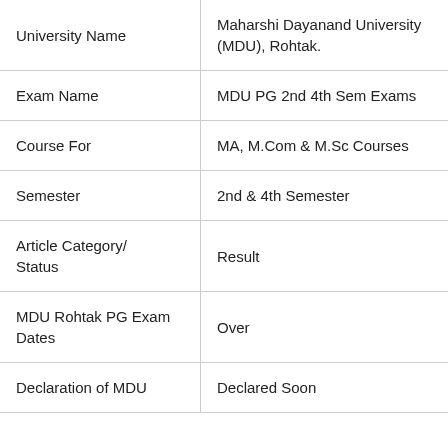| University Name | Maharshi Dayanand University (MDU), Rohtak. |
| Exam Name | MDU PG 2nd 4th Sem Exams |
| Course For | MA, M.Com & M.Sc Courses |
| Semester | 2nd & 4th Semester |
| Article Category/ Status | Result |
| MDU Rohtak PG Exam Dates | Over |
| Declaration of MDU | Declared Soon |